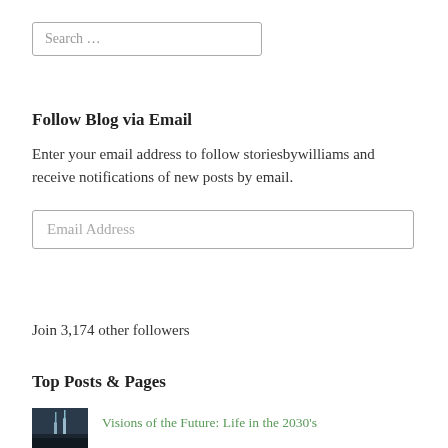Search …
Follow Blog via Email
Enter your email address to follow storiesbywilliams and receive notifications of new posts by email.
Email Address
Subscribe
Join 3,174 other followers
Top Posts & Pages
Visions of the Future: Life in the 2030's